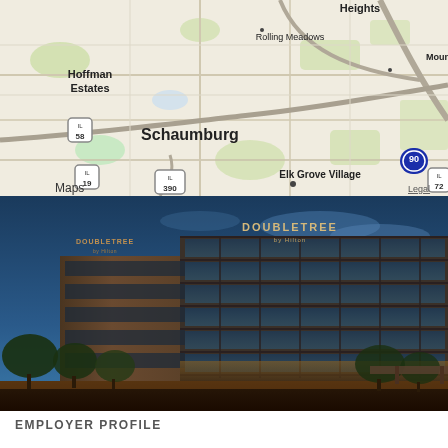[Figure (map): Apple Maps showing Schaumburg, IL area including Hoffman Estates, Rolling Meadows, Elk Grove Village, Mount Prospect. Shows IL routes 58, 19, 390, 90, 72.]
[Figure (photo): Exterior photo of DoubleTree by Hilton hotel building at dusk/night. Multi-story building with glass facade, warm interior lighting, trees in foreground.]
EMPLOYER PROFILE